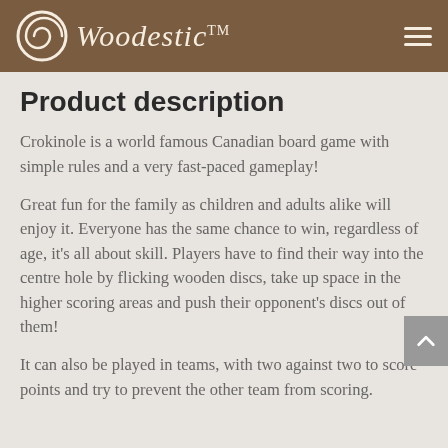Woodestic™
Product description
Crokinole is a world famous Canadian board game with simple rules and a very fast-paced gameplay!
Great fun for the family as children and adults alike will enjoy it. Everyone has the same chance to win, regardless of age, it's all about skill. Players have to find their way into the centre hole by flicking wooden discs, take up space in the higher scoring areas and push their opponent's discs out of them!
It can also be played in teams, with two against two to score points and try to prevent the other team from scoring.